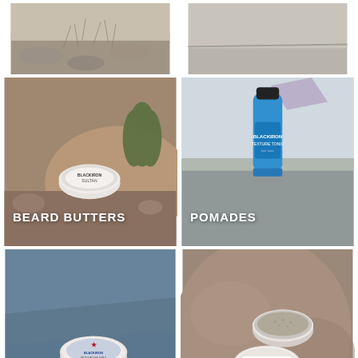[Figure (photo): Cropped top portion of a desert/gravel ground with dry grass]
[Figure (photo): Cropped top portion of a concrete ledge or bench]
[Figure (photo): Product photo of a beard butter tin labeled SULTAN on a rock in desert setting, labeled BEARD BUTTERS]
[Figure (photo): Product photo of a blue bottle of pomade/texture tonic on a concrete ledge, labeled POMADES]
[Figure (photo): Product photo of a mustache wax tin with patriotic design on blue fabric, labeled MUSTACHE WAX]
[Figure (photo): Product photo of two grooming tins labeled Gentleman on a rocky surface, labeled HEAD TO TOE]